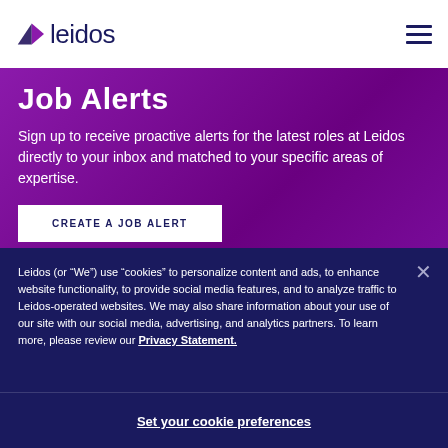leidos
Job Alerts
Sign up to receive proactive alerts for the latest roles at Leidos directly to your inbox and matched to your specific areas of expertise.
CREATE A JOB ALERT
Leidos (or “We”) use “cookies” to personalize content and ads, to enhance website functionality, to provide social media features, and to analyze traffic to Leidos-operated websites. We may also share information about your use of our site with our social media, advertising, and analytics partners. To learn more, please review our Privacy Statement.
Set your cookie preferences